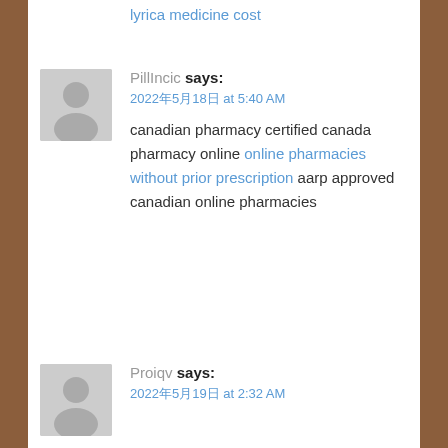lyrica medicine cost
PillIncic says:
2022年5月18日 at 5:40 AM
canadian pharmacy certified canada pharmacy online online pharmacies without prior prescription aarp approved canadian online pharmacies
Proiqv says:
2022年5月19日 at 2:32 AM